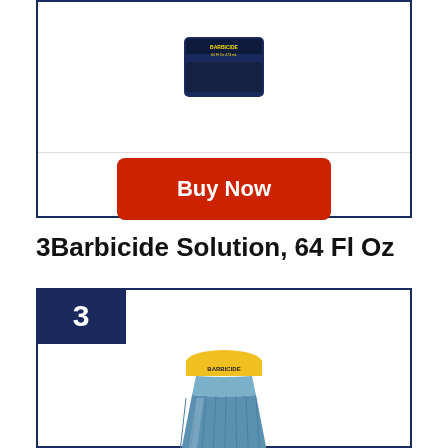[Figure (photo): Partially visible product image of a dark blue bottle/container at top of page]
Buy Now
3   Barbicide Solution, 64 Fl Oz
[Figure (photo): Barbicide Solution 64 Fl Oz large blue bottle with yellow cap, inside a numbered product card ranked #3]